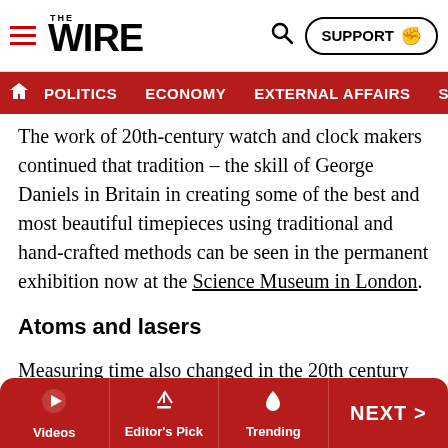THE WIRE — navigation bar with Politics, Economy, External Affairs, Security
The work of 20th-century watch and clock makers continued that tradition – the skill of George Daniels in Britain in creating some of the best and most beautiful timepieces using traditional and hand-crafted methods can be seen in the permanent exhibition now at the Science Museum in London.
Atoms and lasers
Measuring time also changed in the 20th century changed through the development of the atomic clock in the 1950s at the National Physical Laboratory. This allowed for new and better definition of time, and the second as its prime measure.
Videos | Editor's Pick | Trending | NEXT >